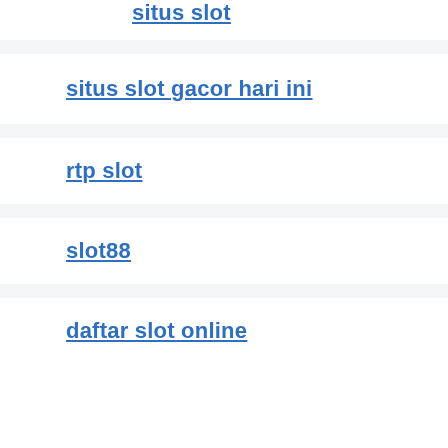situs slot
situs slot gacor hari ini
rtp slot
slot88
daftar slot online